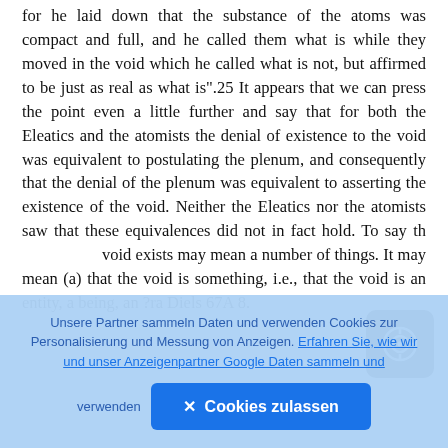for he laid down that the substance of the atoms was compact and full, and he called them what is while they moved in the void which he called what is not, but affirmed to be just as real as what is".25 It appears that we can press the point even a little further and say that for both the Eleatics and the atomists the denial of existence to the void was equivalent to postulating the plenum, and consequently that the denial of the plenum was equivalent to asserting the existence of the void. Neither the Eleatics nor the atomists saw that these equivalences did not in fact hold. To say that the void exists may mean a number of things. It may mean (a) that the void is something, i.e., that the void is an entity, a being, an ?ra Diels 67A 8.
[Figure (other): Dark rounded square button with a camera/record icon (circle with target symbol) in white, positioned in the lower right area of the text content.]
Unsere Partner sammeln Daten und verwenden Cookies zur Personalisierung und Messung von Anzeigen. Erfahren Sie, wie wir und unser Anzeigenpartner Google Daten sammeln und verwenden
✕ Cookies zulassen